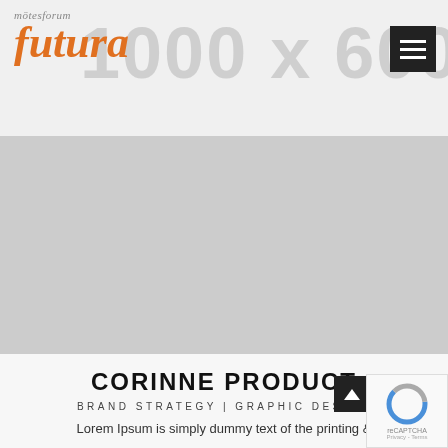mötesforum futura
[Figure (screenshot): Grey placeholder hero image banner]
CORINNE PRODUCT
BRAND STRATEGY | GRAPHIC DESIGN
Lorem Ipsum is simply dummy text of the printing &